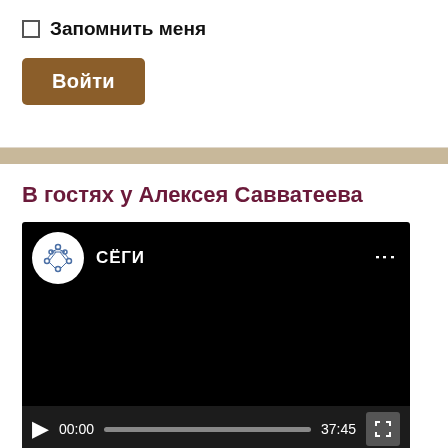Запомнить меня
Войти
В гостях у Алексея Савватеева
[Figure (screenshot): Embedded video player showing a black screen with СЁГИ channel logo (white circle with a network/graph icon) and channel name. Video controls show play button, time 00:00, progress bar, duration 37:45, and fullscreen button.]